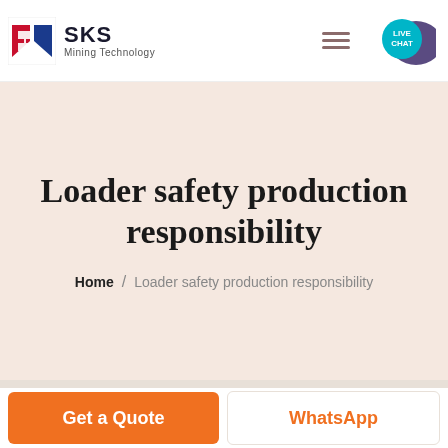[Figure (logo): SKS Mining Technology logo with red/blue angular S icon and company name]
[Figure (illustration): Live Chat bubble icon in teal/cyan color with speech bubble graphic]
Loader safety production responsibility
Home / Loader safety production responsibility
Get a Quote
WhatsApp